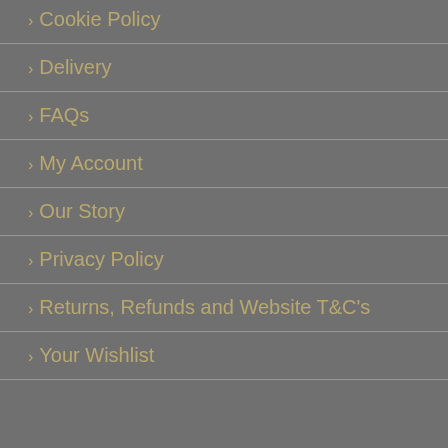> Cookie Policy
> Delivery
> FAQs
> My Account
> Our Story
> Privacy Policy
> Returns, Refunds and Website T&C's
> Your Wishlist